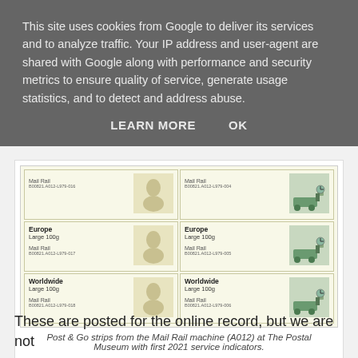This site uses cookies from Google to deliver its services and to analyze traffic. Your IP address and user-agent are shared with Google along with performance and security metrics to ensure quality of service, generate usage statistics, and to detect and address abuse.
LEARN MORE   OK
[Figure (photo): Post & Go stamp strips from the Mail Rail machine (A012), showing six stamps in two columns: left column with Queen silhouette design, right column with Mail Rail locomotive/workers design. Stamps show: Europe Large 100g / Mail Rail, and Worldwide Large 100g / Mail Rail service indicators.]
Post & Go strips from the Mail Rail machine (A012) at The Postal Museum with first 2021 service indicators.
These are posted for the online record, but we are not